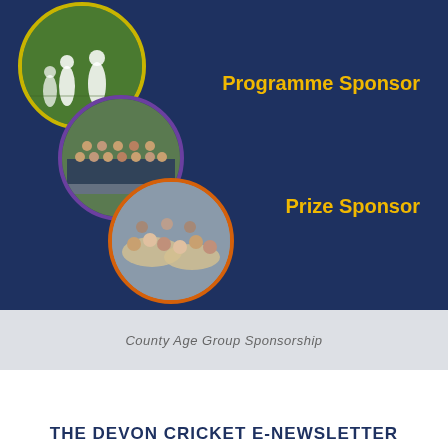[Figure (photo): Dark navy blue banner with three circular photos of cricket activities (cricket match, team group photo, group gathering/dinner), with yellow and purple/orange circle borders]
Programme Sponsor
Prize Sponsor
To find out more please visit www.devoncricket.co.uk/sponsorship-packages or call the Devon Cricket Office on 01392 262509
County Age Group Sponsorship
THE DEVON CRICKET E-NEWSLETTER